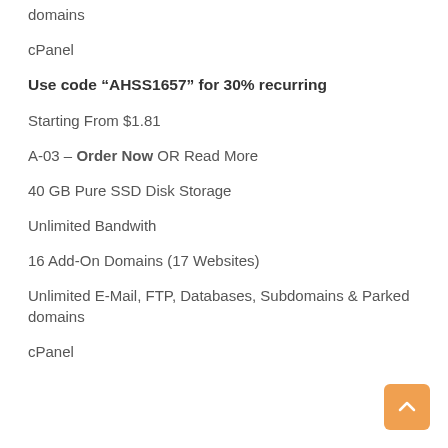domains
cPanel
Use code “AHSS1657” for 30% recurring
Starting From $1.81
A-03 – Order Now OR Read More
40 GB Pure SSD Disk Storage
Unlimited Bandwith
16 Add-On Domains (17 Websites)
Unlimited E-Mail, FTP, Databases, Subdomains & Parked domains
cPanel